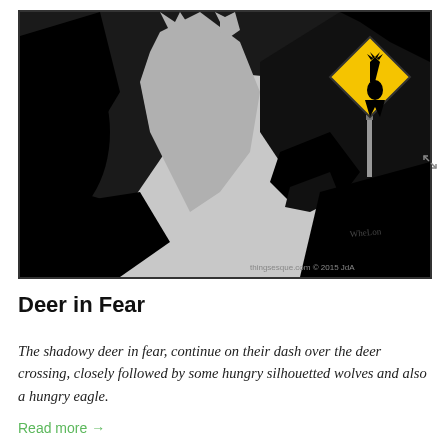[Figure (illustration): Black and white silhouette illustration showing deer in fear running across a deer crossing sign, closely followed by silhouetted wolves and an eagle. The background is grey and black with dramatic animal shapes. A yellow diamond deer crossing sign is visible in the upper right. Artist signature and 'thingsesque.com © 2015 JdA' watermark at bottom right.]
Deer in Fear
The shadowy deer in fear, continue on their dash over the deer crossing, closely followed by some hungry silhouetted wolves and also a hungry eagle.
Read more →